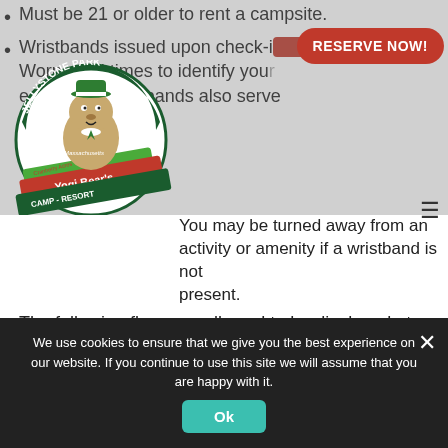Must be 21 or older to rent a campsite.
Wristbands issued upon check-in and must be Worn at all times to identify your... rest. These wristbands also serve
[Figure (logo): Yogi Bear's Jellystone Park Camp-Resort Massachusetts (Cranberry Acres) circular logo with Yogi Bear illustration]
You may be turned away from an activity or amenity if a wristband is not present.
The following flags are allowed to be displayed at your site and throughout the campground, American, Canadian, Military, including Air Force, Army, Marine Corps, Navy, Coast Guard, POW, MIA, and veterans, sports and decorative flags such as holiday, seasonal or garden.
We use cookies to ensure that we give you the best experience on our website. If you continue to use this site we will assume that you are happy with it.